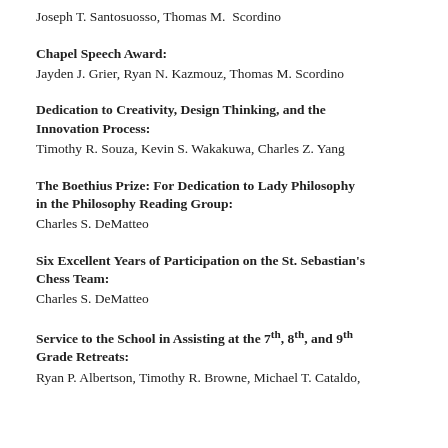Joseph T. Santosuosso, Thomas M. Scordino
Chapel Speech Award:
Jayden J. Grier, Ryan N. Kazmouz, Thomas M. Scordino
Dedication to Creativity, Design Thinking, and the Innovation Process:
Timothy R. Souza, Kevin S. Wakakuwa, Charles Z. Yang
The Boethius Prize: For Dedication to Lady Philosophy in the Philosophy Reading Group:
Charles S. DeMatteo
Six Excellent Years of Participation on the St. Sebastian's Chess Team:
Charles S. DeMatteo
Service to the School in Assisting at the 7th, 8th, and 9th Grade Retreats:
Ryan P. Albertson, Timothy R. Browne, Michael T. Cataldo,